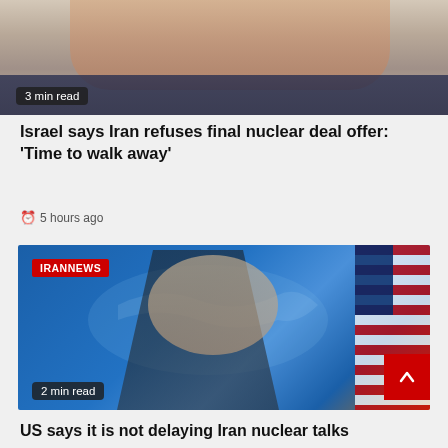[Figure (photo): Partial photo of a person in a dark suit, cropped at top of page, with '3 min read' badge overlay]
Israel says Iran refuses final nuclear deal offer: 'Time to walk away'
5 hours ago
[Figure (photo): Photo of a man in dark suit with red tie speaking at a podium, blue world map background, American flag visible, 'IRANNEWS' red badge overlay, '2 min read' badge]
US says it is not delaying Iran nuclear talks